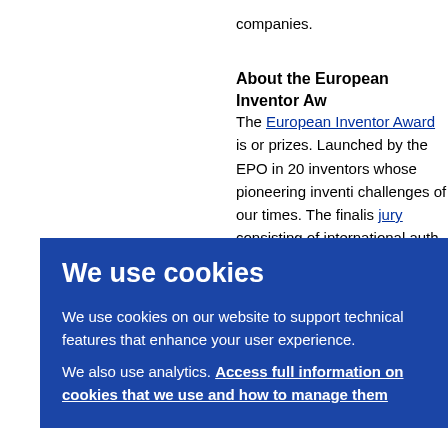companies.
About the European Inventor Awa…
The European Inventor Award is or… prizes. Launched by the EPO in 20… inventors whose pioneering inventi… challenges of our times. The finalis… jury consisting of international auth… science, academia and research w… towards technical progress, social c… d is co… d Life… ular P…
We use cookies
We use cookies on our website to support technical features that enhance your user experience.
We also use analytics. Access full information on cookies that we use and how to manage them
n Pate… Hea… nna, t… pate…